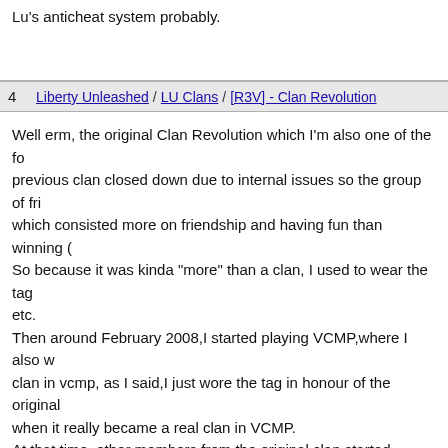Lu's anticheat system probably.
4   Liberty Unleashed / LU Clans / [R3V] - Clan Revolution
Well erm, the original Clan Revolution which I'm also one of the fo... previous clan closed down due to internal issues so the group of fri... which consisted more on friendship and having fun than winning (... So because it was kinda "more" than a clan, I used to wear the tag ... etc. Then around February 2008,I started playing VCMP,where I also w... clan in vcmp, as I said,I just wore the tag in honour of the original... when it really became a real clan in VCMP. At that time, other members from the original clan started playing... After all this time,here we are with the release of LU, where we wi...
5   News and Content / Liberty Unleashed News / Re: LU 0.1 has been...
It's finally here, Good job and congratulations to the team.